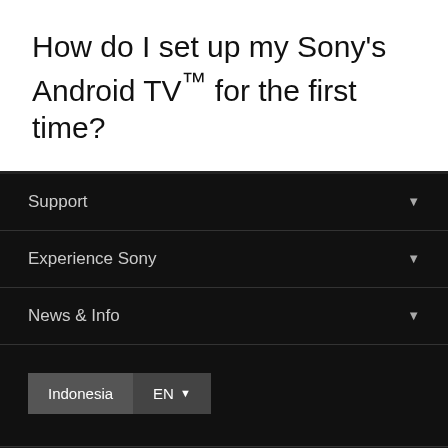How do I set up my Sony's Android TV™ for the first time?
Support
Experience Sony
News & Info
Indonesia  EN
Professional Products & Solutions   Company Info   Careers   Contact Us